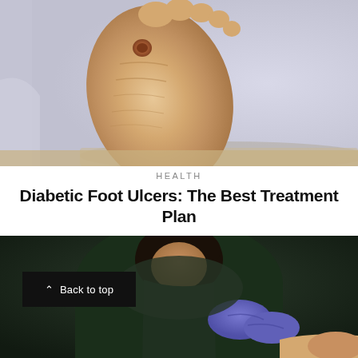[Figure (photo): Close-up photo of the sole of a diabetic foot showing a wound/ulcer on the heel, person wearing medical gown, resting on a surface with light lavender/grey background.]
HEALTH
Diabetic Foot Ulcers: The Best Treatment Plan
[Figure (photo): Medical professional or doctor in dark green scrubs and purple nitrile gloves leaning over and examining or treating a patient's foot/wound.]
Back to top